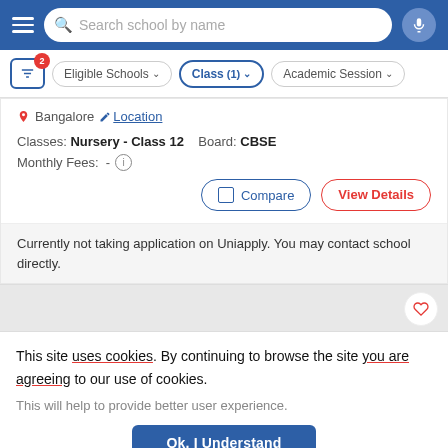[Figure (screenshot): Top navigation bar with hamburger menu, search box 'Search school by name', and microphone button on blue background]
[Figure (screenshot): Filter bar with filter icon (badge 2), Eligible Schools dropdown, Class (1) dropdown (active/blue), Academic Session dropdown]
Bangalore  Location
Classes: Nursery - Class 12   Board: CBSE
Monthly Fees:  -  ⓘ
Compare   View Details
Currently not taking application on Uniapply. You may contact school directly.
This site uses cookies. By continuing to browse the site you are agreeing to our use of cookies.
This will help to provide better user experience.
Ok, I Understand